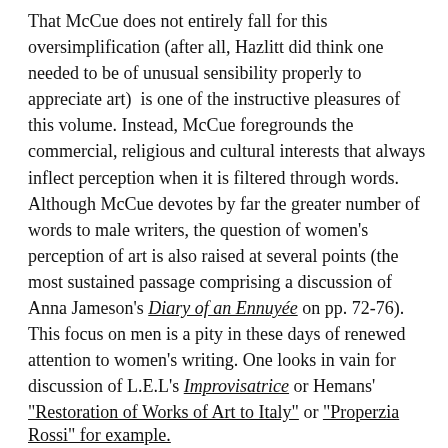That McCue does not entirely fall for this oversimplification (after all, Hazlitt did think one needed to be of unusual sensibility properly to appreciate art)  is one of the instructive pleasures of this volume. Instead, McCue foregrounds the commercial, religious and cultural interests that always inflect perception when it is filtered through words.
Although McCue devotes by far the greater number of words to male writers, the question of women's perception of art is also raised at several points (the most sustained passage comprising a discussion of Anna Jameson's Diary of an Ennuyée on pp. 72-76). This focus on men is a pity in these days of renewed attention to women's writing. One looks in vain for discussion of L.E.L's Improvisatrice or Hemans' "Restoration of Works of Art to Italy" or "Properzia Rossi" for example.